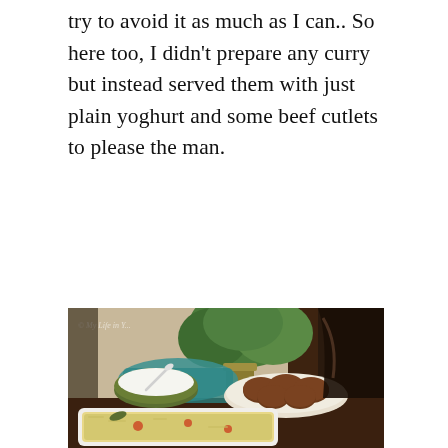try to avoid it as much as I can.. So here too, I didn't prepare any curry but instead served them with just plain yoghurt and some beef cutlets to please the man.
[Figure (photo): A food photograph showing a table setting with a white baking dish containing yellow rice pilaf with tomatoes and herbs, a green bowl with yoghurt and a spoon, a plate with brown beef cutlets, a teal/turquoise cloth napkin, a green plant in a brass vase, and a dark wooden chair in the background. Watermark reads '© My Life in Y...' in the top left.]